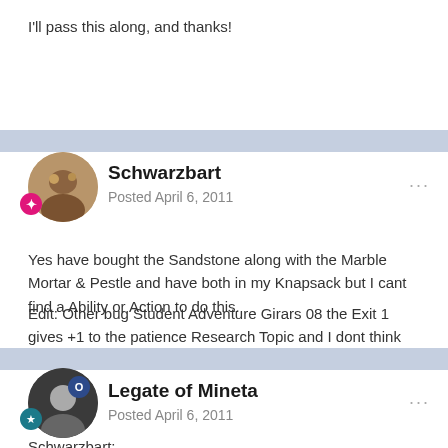I'll pass this along, and thanks!
Schwarzbart
Posted April 6, 2011
Yes have bought the Sandstone along with the Marble Mortar & Pestle and have both in my Knapsack but I cant find a Ability or Action to do this.
Edit: Other bug Student Adventure Girars 08 the Exit 1 gives +1 to the patience Research Topic and I dont think this is intended.
Legate of Mineta
Posted April 6, 2011
Schwarzbart: